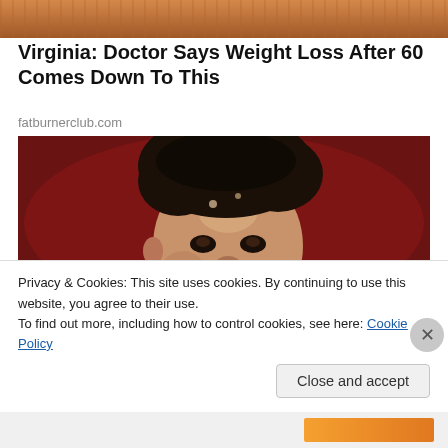[Figure (photo): Top cropped photo showing a person, partial view with orange/warm tones]
Virginia: Doctor Says Weight Loss After 60 Comes Down To This
fatburnerclub.com
[Figure (photo): Close-up photo of a young Black male athlete's face with natural curly hair, looking intensely, dark red background]
Privacy & Cookies: This site uses cookies. By continuing to use this website, you agree to their use.
To find out more, including how to control cookies, see here: Cookie Policy
Close and accept